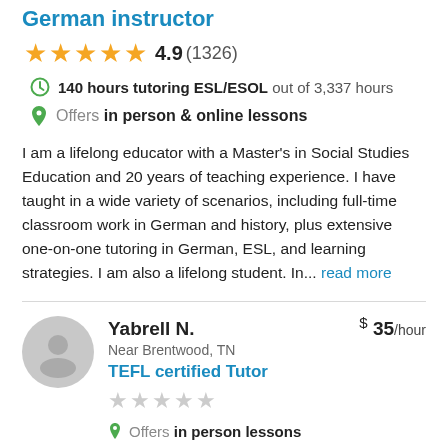German instructor
4.9 (1326)
140 hours tutoring ESL/ESOL out of 3,337 hours
Offers in person & online lessons
I am a lifelong educator with a Master's in Social Studies Education and 20 years of teaching experience. I have taught in a wide variety of scenarios, including full-time classroom work in German and history, plus extensive one-on-one tutoring in German, ESL, and learning strategies. I am also a lifelong student. In... read more
Yabrell N.
$ 35/hour
Near Brentwood, TN
TEFL certified Tutor
Offers in person lessons